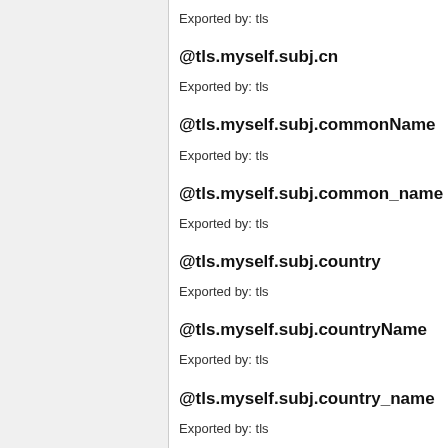Exported by: tls
@tls.myself.subj.cn
Exported by: tls
@tls.myself.subj.commonName
Exported by: tls
@tls.myself.subj.common_name
Exported by: tls
@tls.myself.subj.country
Exported by: tls
@tls.myself.subj.countryName
Exported by: tls
@tls.myself.subj.country_name
Exported by: tls